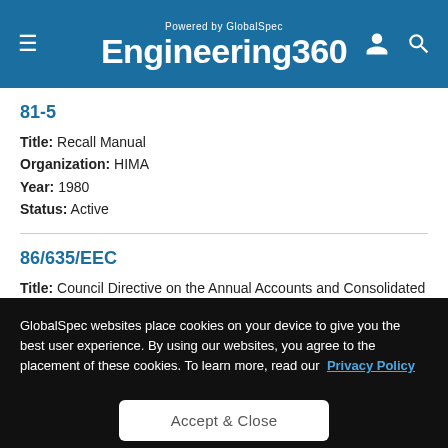Powered by GlobalSpec Engineering 360
81-5
Title: Recall Manual
Organization: HIMA
Year: 1980
Status: Active
86/635/EEC
Title: Council Directive on the Annual Accounts and Consolidated Accounts of Banks and other Financial Institutions
Organization: EU
Year: 1986
Status: Active
GlobalSpec websites place cookies on your device to give you the best user experience. By using our websites, you agree to the placement of these cookies. To learn more, read our Privacy Policy
Accept & Close